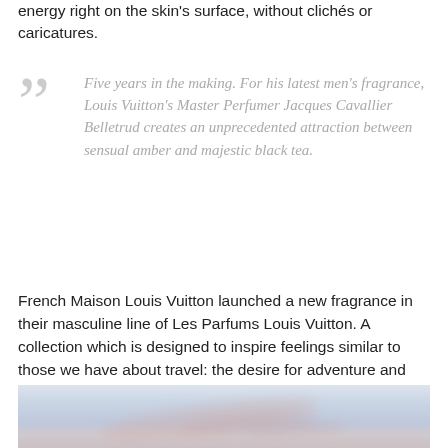energy right on the skin's surface, without clichés or caricatures.
Five years in the making. For his latest men's fragrance, Louis Vuitton's Master Perfumer Jacques Cavallier Belletrud creates an unprecedented attraction between sensual amber and majestic black tea.
French Maison Louis Vuitton launched a new fragrance in their masculine line of Les Parfums Louis Vuitton. A collection which is designed to inspire feelings similar to those we have about travel: the desire for adventure and escape from the mundane. The new fragrance 'Imagination' tries to evokes the atmosphere the beauty of the Italian landscape that wakes up in the early morning hours.
[Figure (photo): A blurred landscape photo showing a pale blue sky with soft rosy-toned cloud streaks, suggesting an early morning Italian landscape scene.]